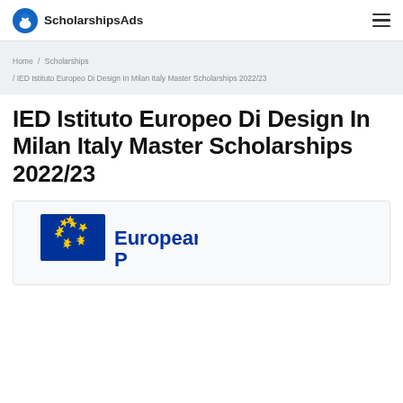ScholarshipsAds
Home / Scholarships / IED Istituto Europeo Di Design In Milan Italy Master Scholarships 2022/23
IED Istituto Europeo Di Design In Milan Italy Master Scholarships 2022/23
[Figure (logo): European Union logo with blue flag and yellow stars, next to text 'European' in blue bold font, partially cut off]